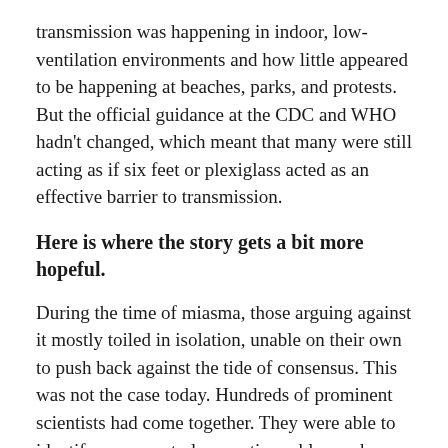transmission was happening in indoor, low-ventilation environments and how little appeared to be happening at beaches, parks, and protests. But the official guidance at the CDC and WHO hadn't changed, which meant that many were still acting as if six feet or plexiglass acted as an effective barrier to transmission.
Here is where the story gets a bit more hopeful.
During the time of miasma, those arguing against it mostly toiled in isolation, unable on their own to push back against the tide of consensus. This was not the case today. Hundreds of prominent scientists had come together. They were able to identify some central semantic problems - how droplets were misnamed, how aerosols meant one thing to physicists and another to physicians, how the word airborne itself was loaded -